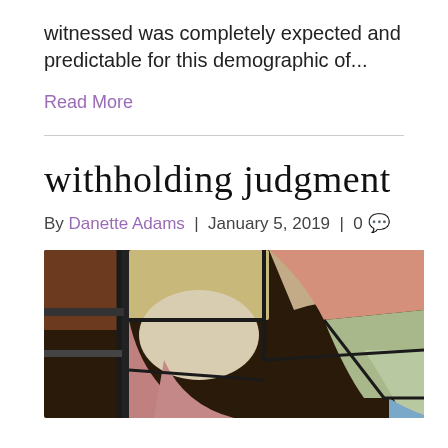witnessed was completely expected and predictable for this demographic of...
Read More
withholding judgment
By Danette Adams | January 5, 2019 | 0
[Figure (photo): A close-up photograph of a stained glass window with colorful panels in pink, tan, green, blue, and cream, separated by dark lead lines.]